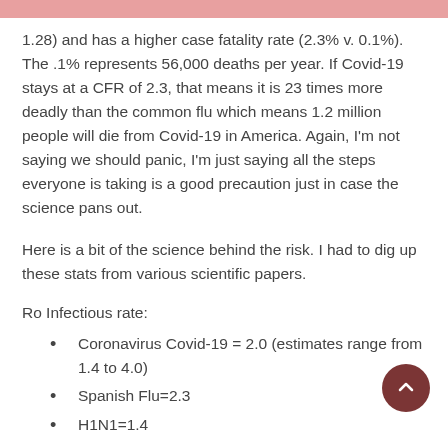1.28) and has a higher case fatality rate (2.3% v. 0.1%). The .1% represents 56,000 deaths per year. If Covid-19 stays at a CFR of 2.3, that means it is 23 times more deadly than the common flu which means 1.2 million people will die from Covid-19 in America. Again, I'm not saying we should panic, I'm just saying all the steps everyone is taking is a good precaution just in case the science pans out.
Here is a bit of the science behind the risk. I had to dig up these stats from various scientific papers.
Ro Infectious rate:
Coronavirus Covid-19 = 2.0 (estimates range from 1.4 to 4.0)
Spanish Flu=2.3
H1N1=1.4